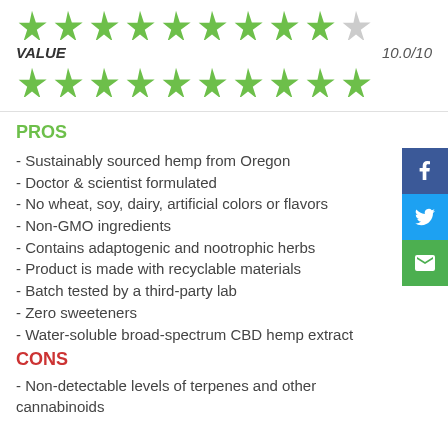[Figure (other): 9 green stars and 1 gray star rating row]
VALUE    10.0/10
[Figure (other): 10 green stars rating row for VALUE]
PROS
- Sustainably sourced hemp from Oregon
- Doctor & scientist formulated
- No wheat, soy, dairy, artificial colors or flavors
- Non-GMO ingredients
- Contains adaptogenic and nootrophic herbs
- Product is made with recyclable materials
- Batch tested by a third-party lab
- Zero sweeteners
- Water-soluble broad-spectrum CBD hemp extract
CONS
- Non-detectable levels of terpenes and other cannabinoids